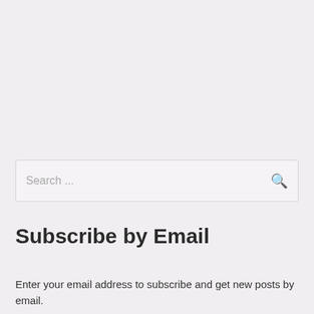Search ...
Subscribe by Email
Enter your email address to subscribe and get new posts by email.